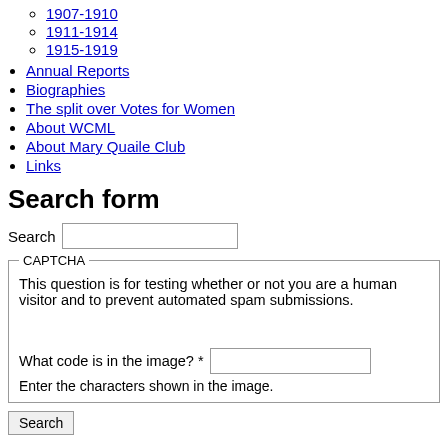1907-1910
1911-1914
1915-1919
Annual Reports
Biographies
The split over Votes for Women
About WCML
About Mary Quaile Club
Links
Search form
Search [text input]
CAPTCHA
This question is for testing whether or not you are a human visitor and to prevent automated spam submissions.
What code is in the image? * [text input]
Enter the characters shown in the image.
Search [button]